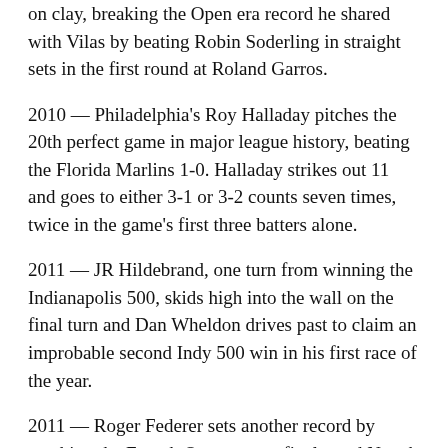on clay, breaking the Open era record he shared with Vilas by beating Robin Soderling in straight sets in the first round at Roland Garros.
2010 — Philadelphia's Roy Halladay pitches the 20th perfect game in major league history, beating the Florida Marlins 1-0. Halladay strikes out 11 and goes to either 3-1 or 3-2 counts seven times, twice in the game's first three batters alone.
2011 — JR Hildebrand, one turn from winning the Indianapolis 500, skids high into the wall on the final turn and Dan Wheldon drives past to claim an improbable second Indy 500 win in his first race of the year.
2011 — Roger Federer sets another record by reaching the French Open quarterfinals, and Novak Djokovic closes in on a pair of his own. Federer extends his quarterfinal streak at major tournaments to 28 with a 6-3, 6-2, 7-5 victory over Stanislas Wawrinka. Djokovic maintains his perfect season to 41-0 and stretches his overall winning streak to 42.